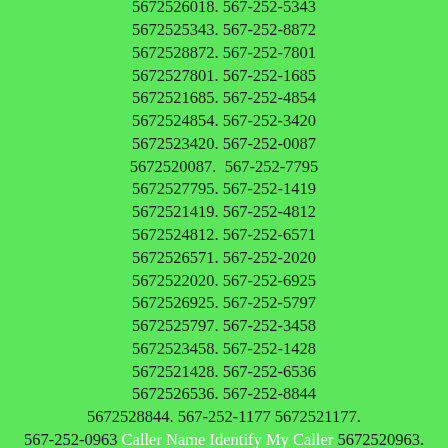5672525897. 567-252-0208 Caller Name Identify My Caller 5672520208. 567-252-5134 5672525134. 567-252-6018 5672526018. 567-252-5343 5672525343. 567-252-8872 5672528872. 567-252-7801 5672527801. 567-252-1685 5672521685. 567-252-4854 5672524854. 567-252-3420 5672523420. 567-252-0087 5672520087.  567-252-7795 5672527795. 567-252-1419 5672521419. 567-252-4812 5672524812. 567-252-6571 5672526571. 567-252-2020 5672522020. 567-252-6925 5672526925. 567-252-5797 5672525797. 567-252-3458 5672523458. 567-252-1428 5672521428. 567-252-6536 5672526536. 567-252-8844 5672528844. 567-252-1177 5672521177. 567-252-0963 Caller Name Identify My Caller 5672520963. 567-252-4389 5672524389. 567-252-5265